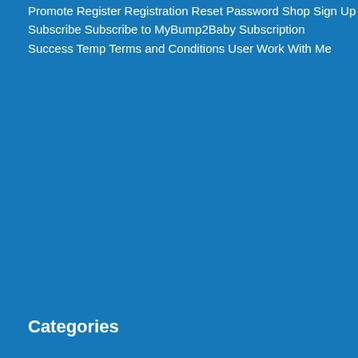Promote
Register
Registration
Reset Password
Shop
Sign Up
Subscribe
Subscribe to MyBump2Baby
Subscription
Success Temp
Terms and Conditions
User
Work With Me
Categories